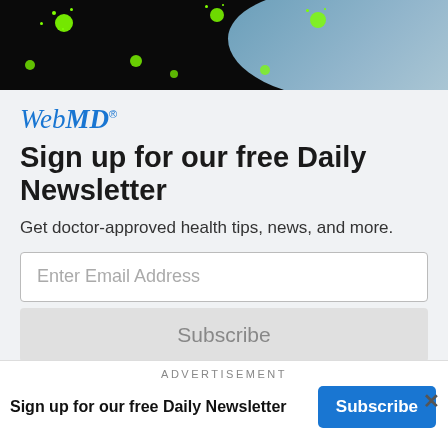[Figure (illustration): Dark banner image with green virus particles and blue anatomical figure of digestive system on black background]
[Figure (logo): WebMD logo in italic serif font with trademark symbol]
Sign up for our free Daily Newsletter
Get doctor-approved health tips, news, and more.
Enter Email Address
Subscribe
By clicking Subscribe, I agree to the WebMD Terms & Conditions & Privacy Policy and understand that I may opt out of WebMD subscriptions at any time.
ADVERTISEMENT
Sign up for our free Daily Newsletter
Subscribe